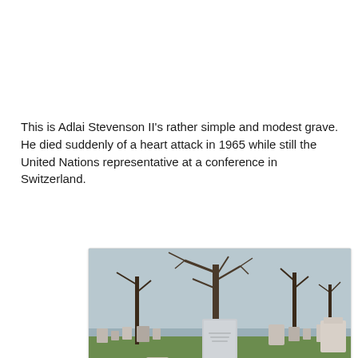This is Adlai Stevenson II's rather simple and modest grave. He died suddenly of a heart attack in 1965 while still the United Nations representative at a conference in Switzerland.
[Figure (photo): Photograph of a cemetery showing Adlai Stevenson II's simple gray rectangular grave marker/headstone in the center, surrounded by other grave markers on green grass with bare trees in the background.]